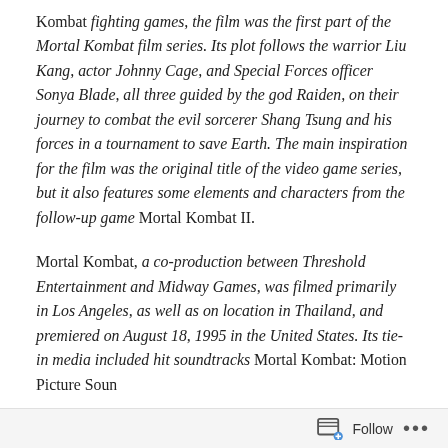Kombat fighting games, the film was the first part of the Mortal Kombat film series. Its plot follows the warrior Liu Kang, actor Johnny Cage, and Special Forces officer Sonya Blade, all three guided by the god Raiden, on their journey to combat the evil sorcerer Shang Tsung and his forces in a tournament to save Earth. The main inspiration for the film was the original title of the video game series, but it also features some elements and characters from the follow-up game Mortal Kombat II.
Mortal Kombat, a co-production between Threshold Entertainment and Midway Games, was filmed primarily in Los Angeles, as well as on location in Thailand, and premiered on August 18, 1995 in the United States. Its tie-in media included hit soundtracks Mortal Kombat: Motion Picture Soundtrack and Mortal Kombat: Original Motion Pict...
Follow ···